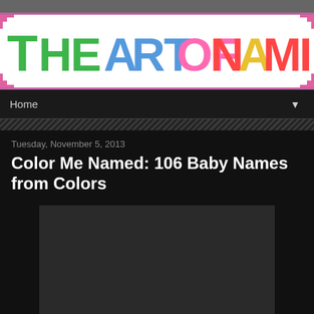[Figure (logo): The Art of Naming blog logo with colorful letters on white background with pink pixel border]
Home
Tuesday, November 5, 2013
Color Me Named: 106 Baby Names from Colors
[Figure (photo): Dark/placeholder image area below the title]